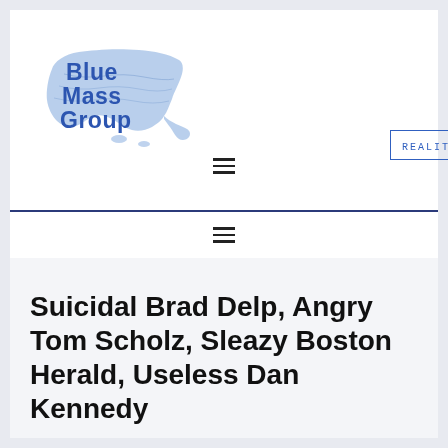[Figure (logo): Blue Mass Group logo with stylized Massachusetts map and bold blue text reading 'Blue Mass Group']
REALITY-BASED COMMENTARY
☰
☰
Suicidal Brad Delp, Angry Tom Scholz, Sleazy Boston Herald, Useless Dan Kennedy